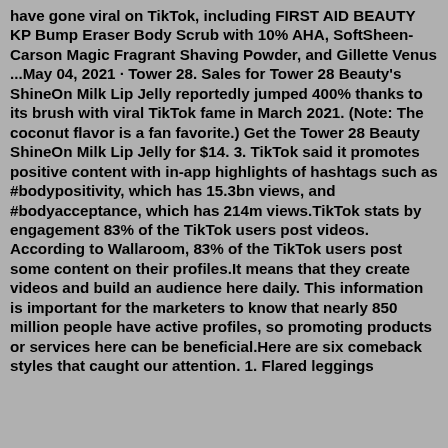have gone viral on TikTok, including FIRST AID BEAUTY KP Bump Eraser Body Scrub with 10% AHA, SoftSheen-Carson Magic Fragrant Shaving Powder, and Gillette Venus ...May 04, 2021 · Tower 28. Sales for Tower 28 Beauty's ShineOn Milk Lip Jelly reportedly jumped 400% thanks to its brush with viral TikTok fame in March 2021. (Note: The coconut flavor is a fan favorite.) Get the Tower 28 Beauty ShineOn Milk Lip Jelly for $14. 3. TikTok said it promotes positive content with in-app highlights of hashtags such as #bodypositivity, which has 15.3bn views, and #bodyacceptance, which has 214m views.TikTok stats by engagement 83% of the TikTok users post videos. According to Wallaroom, 83% of the TikTok users post some content on their profiles.It means that they create videos and build an audience here daily. This information is important for the marketers to know that nearly 850 million people have active profiles, so promoting products or services here can be beneficial.Here are six comeback styles that caught our attention. 1. Flared leggings